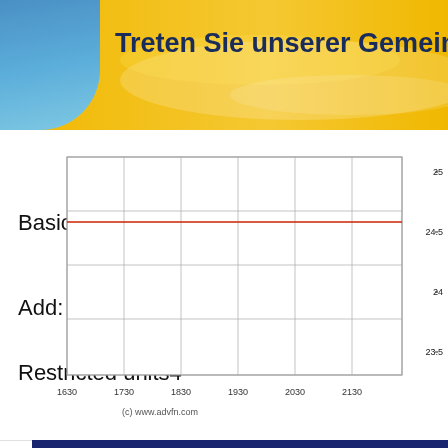Treten Sie unserer Gemeinschaft
Basic units
Add:
Restricted units4
Deferred units
Diluted units
[Figure (line-chart): (c) www.advfn.com]
[Figure (screenshot): ADVFN Trades (Time & Sales) screenshot showing a table with columns: Num, Exch., Price, Size, Type, C, T, Bid, Offer, Time. Rows show trades for nyse with prices around 70.06-70.07.]